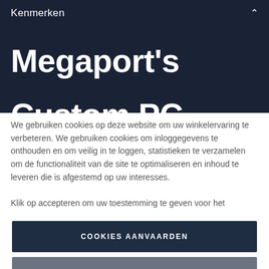Kenmerken
Megaport's Custom PC
We gebruiken cookies op deze website om uw winkelervaring te verbeteren. We gebruiken cookies om inloggegevens te onthouden en om veilig in te loggen, statistieken te verzamelen om de functionaliteit van de site te optimaliseren en inhoud te leveren die is afgestemd op uw interesses.

Klik op accepteren om uw toestemming te geven voor het
COOKIES AANVAARDEN
GEBRUIKERSINSTELLINGEN